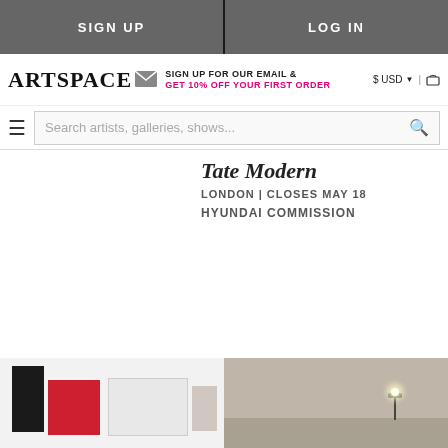SIGN UP | LOG IN
ARTSPACE | SIGN UP FOR OUR EMAIL & GET 10% OFF YOUR FIRST ORDER | $ USD | cart
Search artists, galleries, shows...
Tate Modern
LONDON | CLOSES MAY 18
HYUNDAI COMMISSION
[Figure (photo): Left photo: white gallery wall with dark geometric artwork and red element]
[Figure (photo): Right photo: beige/tan interior room with a lamp]